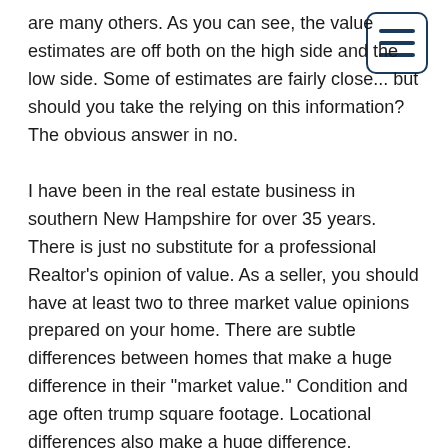are many others. As you can see, the value estimates are off both on the high side and the low side. Some of estimates are fairly close... but should you take the relying on this information? The obvious answer in no.
I have been in the real estate business in southern New Hampshire for over 35 years. There is just no substitute for a professional Realtor's opinion of value. As a seller, you should have at least two to three market value opinions prepared on your home. There are subtle differences between homes that make a huge difference in their "market value." Condition and age often trump square footage. Locational differences also make a huge difference. Computer programs no matter how well conceived, can never replace the opinion of value provided by a real estate professional. Please, no matter whether you are a home-buyer or home-seller, do not rely on online valuations!